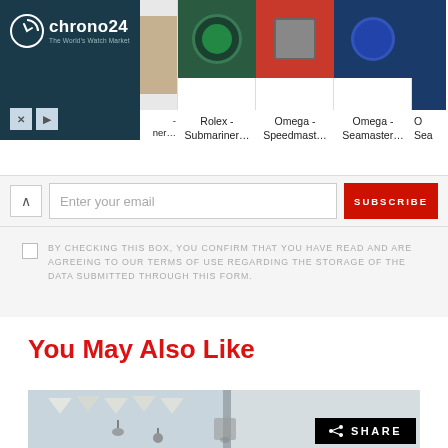[Figure (screenshot): Chrono24 advertisement banner showing watch marketplace with Rolex Submariner, Omega Speedmaster, and Omega Seamaster watch images]
Enter your email
SUBSCRIBE
BY CHECKING THIS BOX, YOU CONFIRM THAT YOU HAVE READ AND ARE AGREEING TO OUR TERMS OF USE REGARDING THE STORAGE OF THE DATA SUBMITTED THROUGH THIS FORM.
You May Also Like
[Figure (photo): Partial photo showing outdoor decoration with bunting and light fixtures on white door/wall]